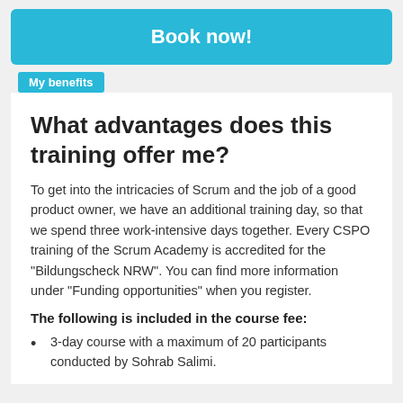Book now!
My benefits
What advantages does this training offer me?
To get into the intricacies of Scrum and the job of a good product owner, we have an additional training day, so that we spend three work-intensive days together. Every CSPO training of the Scrum Academy is accredited for the "Bildungscheck NRW". You can find more information under "Funding opportunities" when you register.
The following is included in the course fee:
3-day course with a maximum of 20 participants conducted by Sohrab Salimi.